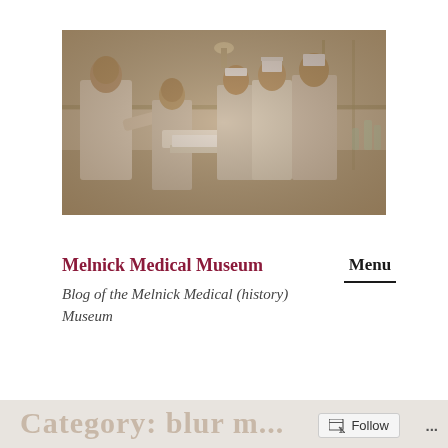[Figure (photo): Sepia-toned historical photograph of medical personnel in surgical/operating room setting, circa early 20th century. Several figures in white coats and nurse uniforms gathered around a patient.]
Melnick Medical Museum
Blog of the Melnick Medical (history) Museum
Menu
Category: blur m...